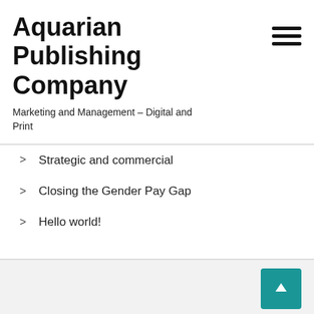Aquarian Publishing Company
Marketing and Management – Digital and Print
Strategic and commercial
Closing the Gender Pay Gap
Hello world!
Recent Comments